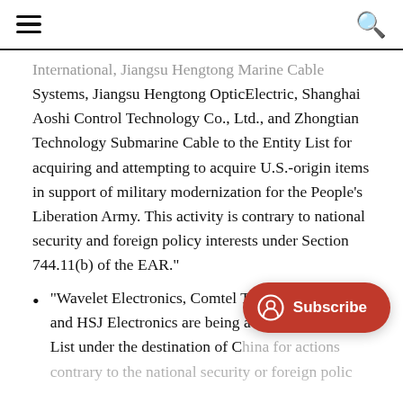[hamburger menu] [search icon]
International, Jiangsu Hengtong Marine Cable Systems, Jiangsu Hengtong OpticElectric, Shanghai Aoshi Control Technology Co., Ltd., and Zhongtian Technology Submarine Cable to the Entity List for acquiring and attempting to acquire U.S.-origin items in support of military modernization for the People's Liberation Army. This activity is contrary to national security and foreign policy interests under Section 744.11(b) of the EAR."
"Wavelet Electronics, Comtel Technology Limited, and HSJ Electronics are being a[dded to the Entity] List under the destination of China for actions contrary to the national security or foreign polic[y...]